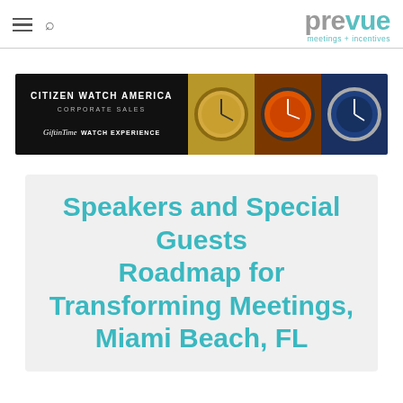prevue meetings + incentives
[Figure (photo): Citizen Watch America Corporate Sales / GiftInTime Watch Experience advertisement banner showing three watch photos: gold-face watch, orange-face diver watch, blue-face watch]
Speakers and Special Guests Roadmap for Transforming Meetings, Miami Beach, FL